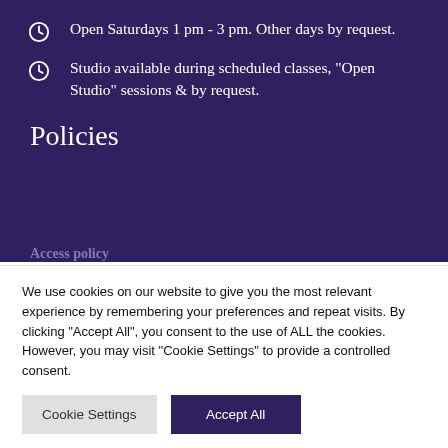Open Saturdays 1 pm - 3 pm. Other days by request.
Studio available during scheduled classes, "Open Studio" sessions & by request.
Policies
Privacy policy
COVID-19 Policy
We use cookies on our website to give you the most relevant experience by remembering your preferences and repeat visits. By clicking "Accept All", you consent to the use of ALL the cookies. However, you may visit "Cookie Settings" to provide a controlled consent.
Cookie Settings | Accept All